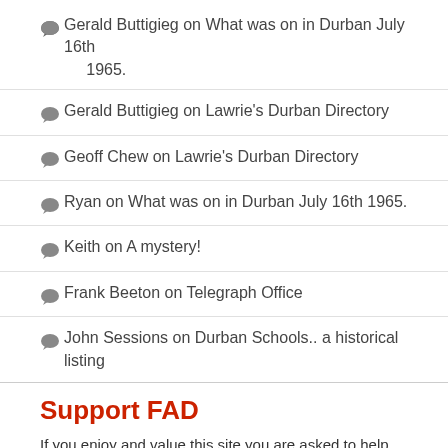Gerald Buttigieg on What was on in Durban July 16th 1965.
Gerald Buttigieg on Lawrie's Durban Directory
Geoff Chew on Lawrie's Durban Directory
Ryan on What was on in Durban July 16th 1965.
Keith on A mystery!
Frank Beeton on Telegraph Office
John Sessions on Durban Schools.. a historical listing
Support FAD
If you enjoy and value this site you are asked to help us keep going by making an occasional donation.
[Figure (other): PayPal Donate button]
Click Contact Us if you want to discuss a sponsorship deal.